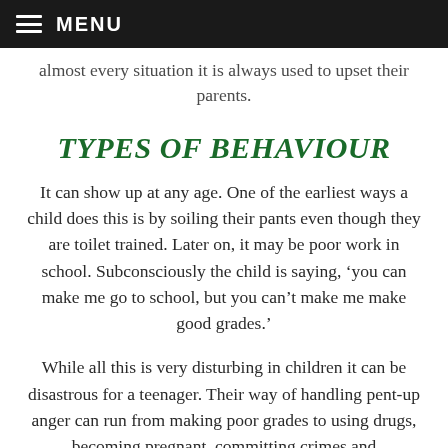MENU
almost every situation it is always used to upset their parents.
TYPES OF BEHAVIOUR
It can show up at any age. One of the earliest ways a child does this is by soiling their pants even though they are toilet trained. Later on, it may be poor work in school. Subconsciously the child is saying, ‘you can make me go to school, but you can’t make me make good grades.’
While all this is very disturbing in children it can be disastrous for a teenager. Their way of handling pent-up anger can run from making poor grades to using drugs, becoming pregnant, committing crimes and